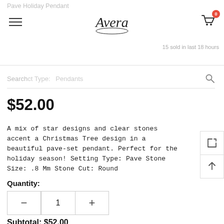Avera
Pave Holiday Pendant
15 sold in last 18 hours
Search  Product Type:   Pendants
$52.00
A mix of star designs and clear stones accent a Christmas Tree design in a beautiful pave-set pendant. Perfect for the holiday season! Setting Type: Pave Stone Size: .8 Mm Stone Cut: Round
Quantity:
− 1 +
Subtotal: $52.00